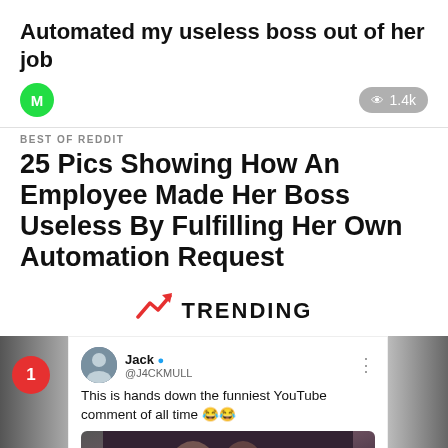Automated my useless boss out of her job
M  👁 1.4k
BEST OF REDDIT
25 Pics Showing How An Employee Made Her Boss Useless By Fulfilling Her Own Automation Request
↗ TRENDING
[Figure (screenshot): Trending card #1 showing a tweet from Jack (@J4CKMULL) with blue verified badge, text: 'This is hands down the funniest YouTube comment of all time 😂😂', with a thumbnail image of two people in a dimly lit scene.]